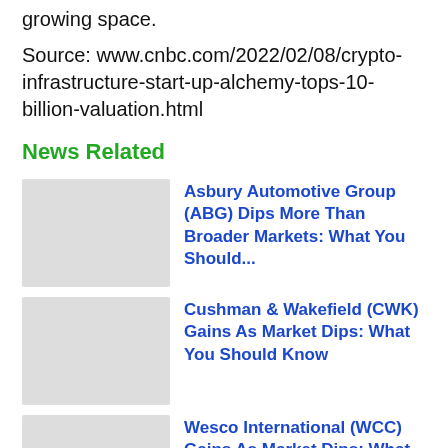growing space.
Source: www.cnbc.com/2022/02/08/crypto-infrastructure-start-up-alchemy-tops-10-billion-valuation.html
News Related
[Figure (photo): Thumbnail image placeholder for Asbury Automotive Group news article]
Asbury Automotive Group (ABG) Dips More Than Broader Markets: What You Should...
[Figure (photo): Thumbnail image placeholder for Cushman & Wakefield news article]
Cushman & Wakefield (CWK) Gains As Market Dips: What You Should Know
[Figure (photo): Thumbnail image placeholder for Wesco International news article]
Wesco International (WCC) Gains As Market Dips: What You Should Know